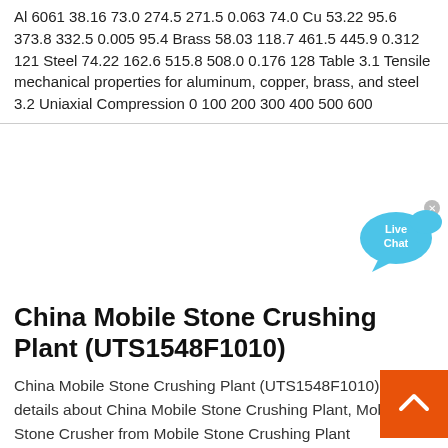Al 6061 38.16 73.0 274.5 271.5 0.063 74.0 Cu 53.22 95.6 373.8 332.5 0.005 95.4 Brass 58.03 118.7 461.5 445.9 0.312 121 Steel 74.22 162.6 515.8 508.0 0.176 128 Table 3.1 Tensile mechanical properties for aluminum, copper, brass, and steel 3.2 Uniaxial Compression 0 100 200 300 400 500 600
[Figure (other): Live Chat speech bubble widget in blue]
China Mobile Stone Crushing Plant (UTS1548F1010)
China Mobile Stone Crushing Plant (UTS1548F1010), Find details about China Mobile Stone Crushing Plant, Mobile Stone Crusher from Mobile Stone Crushing Plant (UTS1548F1010) - Zhengzhou Unique Industrial Equip Co., Ltd.